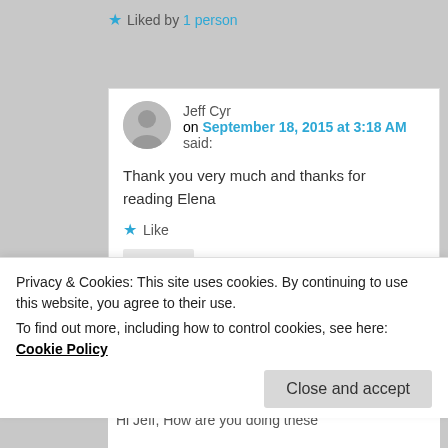★ Liked by 1 person
Reply ↓
Jeff Cyr on September 18, 2015 at 3:18 AM said:
Thank you very much and thanks for reading Elena
★ Like
Reply ↓
Privacy & Cookies: This site uses cookies. By continuing to use this website, you agree to their use.
To find out more, including how to control cookies, see here: Cookie Policy
Close and accept
Hi Jeff, How are you doing these